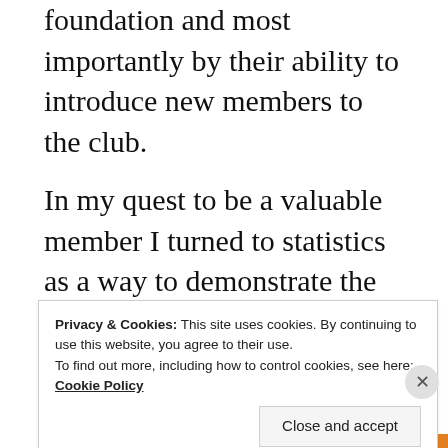foundation and most importantly by their ability to introduce new members to the club.
In my quest to be a valuable member I turned to statistics as a way to demonstrate the credibility of Brand Rotary to my family, my friends and the neighborhood sceptics. I learned all the important stats by heart and would spit them out at the slightest provocation. If someone happened to notice
Privacy & Cookies: This site uses cookies. By continuing to use this website, you agree to their use.
To find out more, including how to control cookies, see here: Cookie Policy
Close and accept